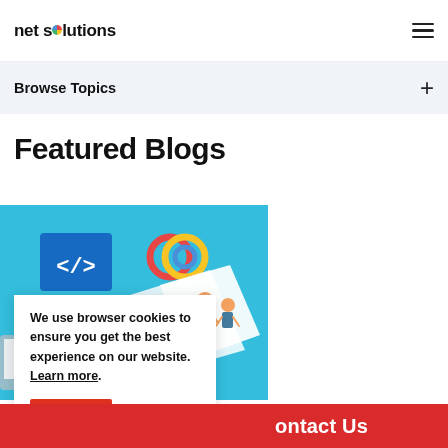net solutions
Browse Topics
Featured Blogs
[Figure (illustration): Illustration of web development concepts with code tag icon, colorful circles, and people working on digital content against a light blue background]
We use browser cookies to ensure you get the best experience on our website. Learn more.
Got It!
ontact Us